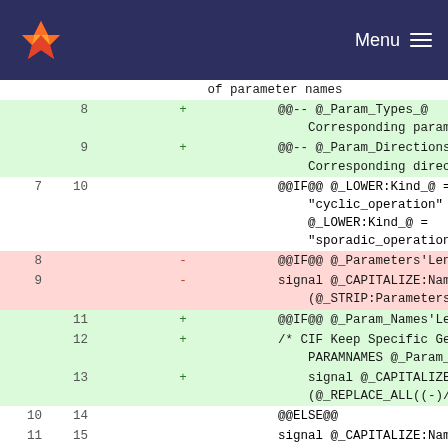GitLab navbar with logo and Menu
| old_line | new_line | sign | code |
| --- | --- | --- | --- |
|  |  |  | of parameter names |
|  | 8 | + | @@-- @_Param_Types_@        :    |_  Corresponding parameter types |
|  | 9 | + | @@-- @_Param_Directions_@   :    |_  Corresponding direction |
| 7 | 10 |  | @@IF@@ @_LOWER:Kind_@ = "cyclic_operation" or @_LOWER:Kind_@ = "sporadic_operation" |
| 8 |  | - | @@IF@@ @_Parameters'Length_@ > 0 |
| 9 |  | - | signal @_CAPITALIZE:Name_@ (@_STRIP:Parameters_@) |
|  | 11 | + | @@IF@@ @_Param_Names'Length_@ > 0 |
|  | 12 | + | /* CIF Keep Specific Geode PARAMNAMES @_Param_Names_@ */ |
|  | 13 | + |     signal @_CAPITALIZE:Name_@ (@_REPLACE_ALL((-)/(_)):Param_Types_@) |
| 10 | 14 |  | @@ELSE@@ |
| 11 | 15 |  | signal @_CAPITALIZE:Name_@ |
| 12 | 16 |  | @@END_IF@@ |